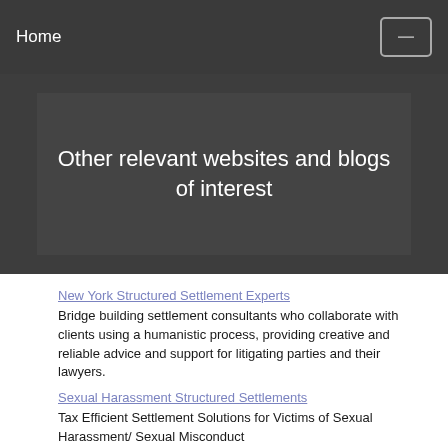Home
Other relevant websites and blogs of interest
New York Structured Settlement Experts
Bridge building settlement consultants who collaborate with clients using a humanistic process, providing creative and reliable advice and support for litigating parties and their lawyers.
Sexual Harassment Structured Settlements
Tax Efficient Settlement Solutions for Victims of Sexual Harassment/ Sexual Misconduct
Structured Settlement Broker | NY/CT/NJ 888-325-8640
The Structured Settlement Watchdog® John Darer®
What is the mission of the Structured Settlement Watchdog? The Who, The What and The Why.